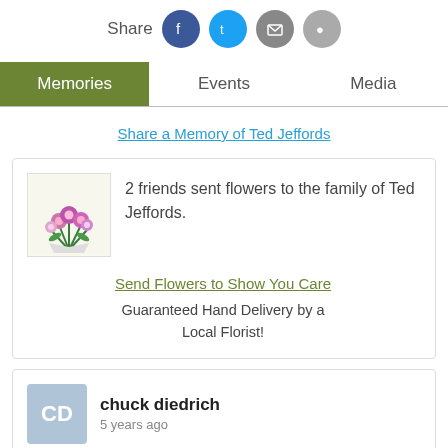[Figure (other): Share label with social media icons: Facebook (blue), Twitter (cyan), Email (gray), Phone/SMS (gray)]
Memories | Events | Media (tab navigation)
Share a Memory of Ted Jeffords
[Figure (illustration): Flower bouquet image with pink/purple flowers]
2 friends sent flowers to the family of Ted Jeffords.
Send Flowers to Show You Care
Guaranteed Hand Delivery by a Local Florist!
[Figure (other): Avatar with initials CD in light blue square]
chuck diedrich
5 years ago
teddy and family,so sorry to hear of the passing of ted my dad and ted are sharing some great trucking